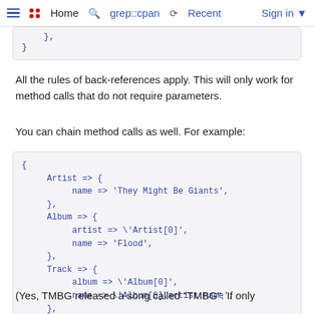≡  •• Home  🔍 grep::cpan  ⟳ Recent  Sign in ▾
}
All the rules of back-references apply. This will only work for method calls that do not require parameters.
You can chain method calls as well. For example:
{
    Artist => {
        name => 'They Might Be Giants',
    },
    Album => {
        artist => \'Artist[0]',
        name => 'Flood',
    },
    Track => {
        album => \'Album[0]',
        name => \'Album[0].artist.name',
    },
}
(Yes, TMBG released a song called "TMBG". If only